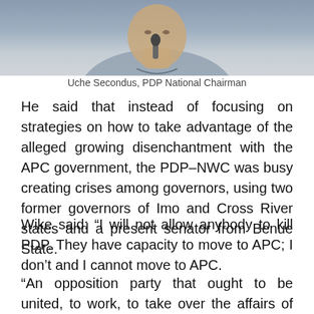[Figure (photo): Photo of Uche Secondus, PDP National Chairman, speaking at a microphone, wearing a grey shirt]
Uche Secondus, PDP National Chairman
He said that instead of focusing on strategies on how to take advantage of the alleged growing disenchantment with the APC government, the PDP–NWC was busy creating crises among governors, using two former governors of Imo and Cross River states and a present senator from Benue State.
Wike said: “I will not allow anybody to kill PDP. They have capacity to move to APC; I don’t and I cannot move to APC.
“An opposition party that ought to be united, to work, to take over the affairs of government because people are waiting for this opportunity